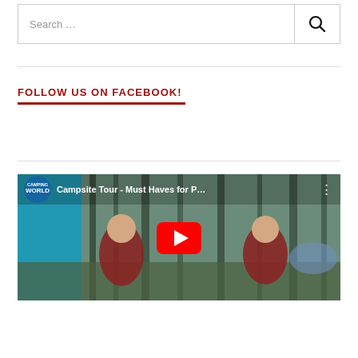Search …
FOLLOW US ON FACEBOOK!
[Figure (screenshot): YouTube video thumbnail for 'Campsite Tour - Must Haves for P…' from Camping World channel, showing two people sitting outdoors with a YouTube play button overlay.]